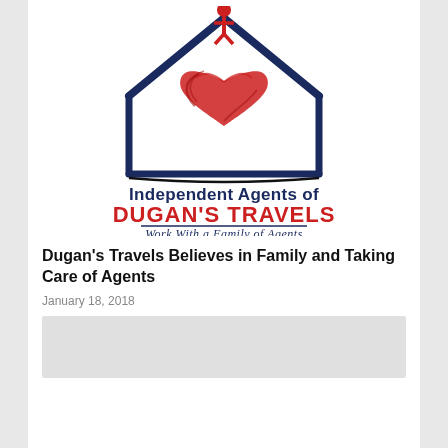[Figure (logo): Independent Agents of Dugan's Travels logo. Features a house outline in dark blue with a red illustrated heart inside, a person figure at the top. Below: 'Independent Agents of' in dark navy, 'DUGAN'S TRAVELS' in bold red, a horizontal line, 'Work With a Family of Agents' in script, and 'www.travelathome.com' in small text.]
Dugan's Travels Believes in Family and Taking Care of Agents
January 18, 2018
[Figure (photo): Partially visible image at the bottom of the page, appears to be a light gray/white photo preview.]